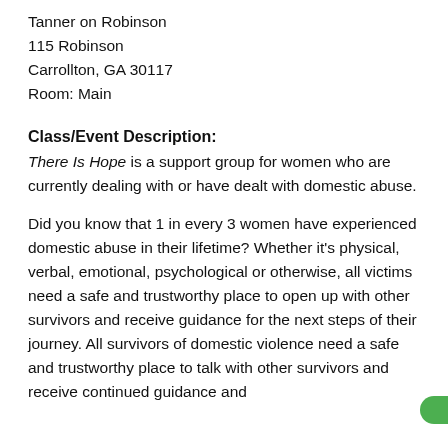Tanner on Robinson
115 Robinson
Carrollton, GA 30117
Room: Main
Class/Event Description:
There Is Hope is a support group for women who are currently dealing with or have dealt with domestic abuse.
Did you know that 1 in every 3 women have experienced domestic abuse in their lifetime? Whether it's physical, verbal, emotional, psychological or otherwise, all victims need a safe and trustworthy place to open up with other survivors and receive guidance for the next steps of their journey. All survivors of domestic violence need a safe and trustworthy place to talk with other survivors and receive continued guidance and